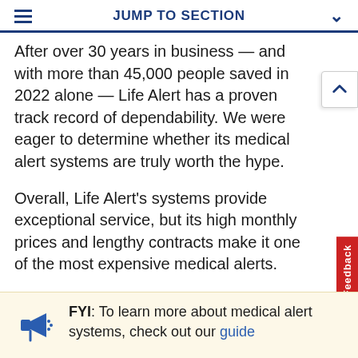JUMP TO SECTION
After over 30 years in business — and with more than 45,000 people saved in 2022 alone — Life Alert has a proven track record of dependability. We were eager to determine whether its medical alert systems are truly worth the hype.
Overall, Life Alert's systems provide exceptional service, but its high monthly prices and lengthy contracts make it one of the most expensive medical alerts.
FYI: To learn more about medical alert systems, check out our guide